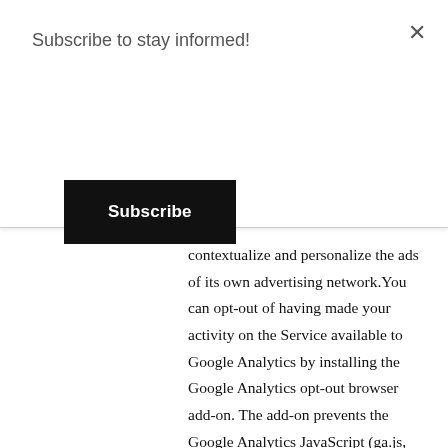Subscribe to stay informed!
Subscribe
contextualize and personalize the ads of its own advertising network.You can opt-out of having made your activity on the Service available to Google Analytics by installing the Google Analytics opt-out browser add-on. The add-on prevents the Google Analytics JavaScript (ga.js, analytics.js, and dc.js) from sharing information with Google Analytics about visits activity.For more information on the privacy practices of Google, please visit the Google Privacy & Terms web page: